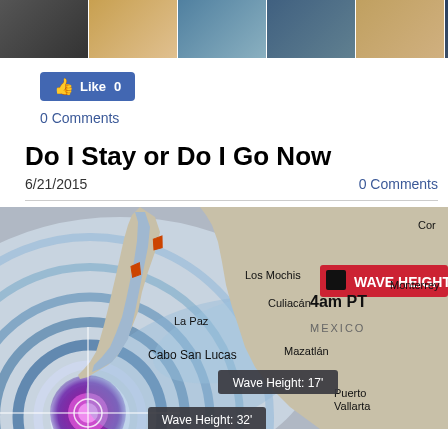[Figure (photo): Strip of thumbnail photos at top of webpage]
[Figure (infographic): Facebook Like button showing 0 likes]
0 Comments
Do I Stay or Do I Go Now
6/21/2015
0 Comments
[Figure (map): Weather map showing wave heights near Baja California, Mexico. Labels include: Los Mochis, Culiacán, La Paz, Cabo San Lucas, Mazatlán, Puerto Vallarta, Monterrey, MEXICO. Wave Height legend in red. 4am PT. Wave Height: 17' near Cabo San Lucas, Wave Height: 32' further offshore. Concentric rings showing storm wave propagation in blue/purple.]